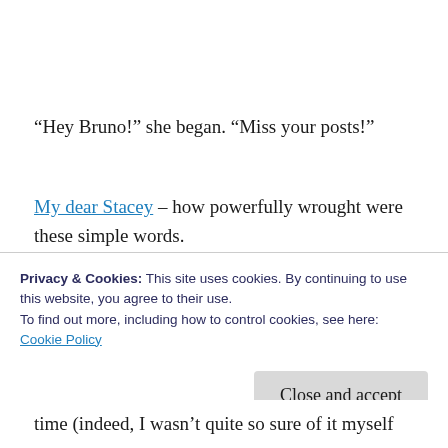“Hey Bruno!” she began. “Miss your posts!”
My dear Stacey – how powerfully wrought were these simple words.
We chatted for a bit – apparently, I may be considered a Subject Matter Expert on all
Privacy & Cookies: This site uses cookies. By continuing to use this website, you agree to their use.
To find out more, including how to control cookies, see here:
Cookie Policy
Close and accept
time (indeed, I wasn’t quite so sure of it myself